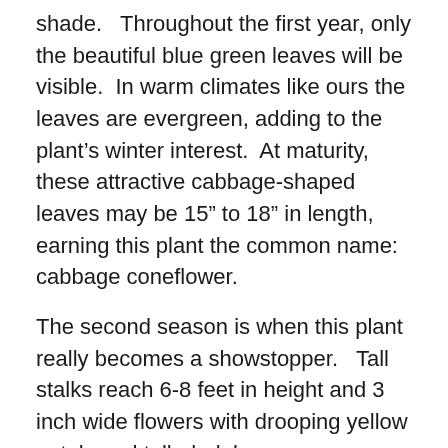shade.   Throughout the first year, only the beautiful blue green leaves will be visible.  In warm climates like ours the leaves are evergreen, adding to the plant's winter interest.  At maturity, these attractive cabbage-shaped leaves may be 15” to 18” in length, earning this plant the common name: cabbage coneflower.
The second season is when this plant really becomes a showstopper.   Tall stalks reach 6-8 feet in height and 3 inch wide flowers with drooping yellow petals and tall, dark brown cones make a strong statement in the garden. Use the stunning flowers in fresh or dried floral arrangements but be sure to leave some on the stalk as food for gold finches, chickadees and other backyard birds.